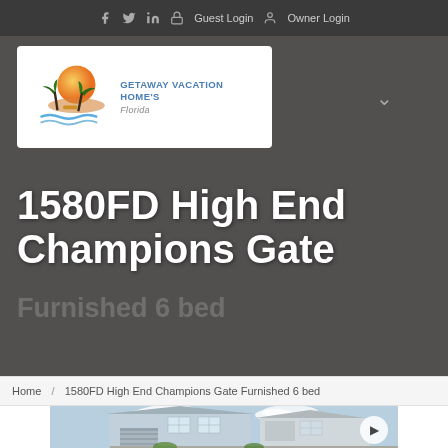Guest Login  Owner Login
[Figure (logo): Getaway Vacation Home's Florida logo with palm trees and sunset]
1580FD High End Champions Gate
Furnished 6 bed
Home / 1580FD High End Champions Gate Furnished 6 bed
[Figure (photo): Two-story light blue/gray vacation home exterior with garage, windows, and blue sky with clouds]